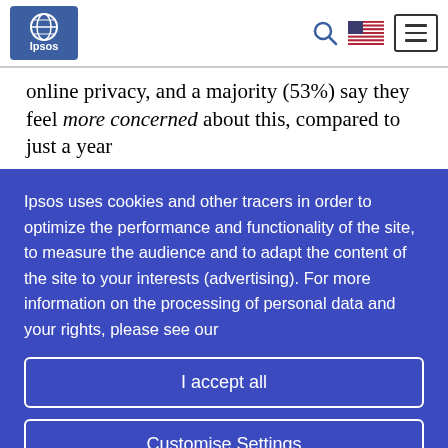[Figure (logo): Ipsos logo — blue rounded square with white globe-like icon and 'Ipsos' text]
online privacy, and a majority (53%) say they feel more concerned about this, compared to just a year
Ipsos uses cookies and other tracers in order to optimize the performance and functionality of the site, to measure the audience and to adapt the content of the site to your interests (advertising). For more information on the processing of personal data and your rights, please see our
I accept all
Customise Settings